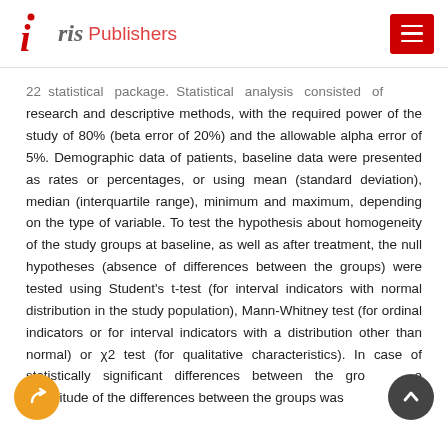Iris Publishers
22 statistical package. Statistical analysis consisted of research and descriptive methods, with the required power of the study of 80% (beta error of 20%) and the allowable alpha error of 5%. Demographic data of patients, baseline data were presented as rates or percentages, or using mean (standard deviation), median (interquartile range), minimum and maximum, depending on the type of variable. To test the hypothesis about homogeneity of the study groups at baseline, as well as after treatment, the null hypotheses (absence of differences between the groups) were tested using Student's t-test (for interval indicators with normal distribution in the study population), Mann-Whitney test (for ordinal indicators or for interval indicators with a distribution other than normal) or χ2 test (for qualitative characteristics). In case of statistically significant differences between the groups, the magnitude of the differences between the groups was estimated.